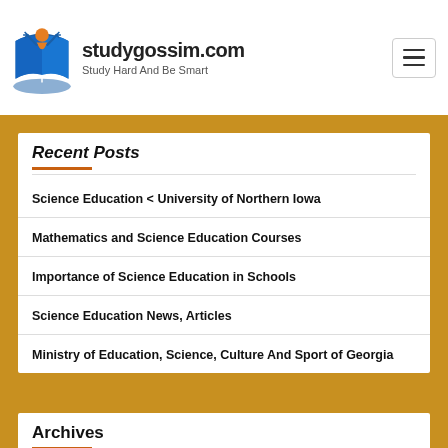studygossim.com — Study Hard And Be Smart
Recent Posts
Science Education < University of Northern Iowa
Mathematics and Science Education Courses
Importance of Science Education in Schools
Science Education News, Articles
Ministry of Education, Science, Culture And Sport of Georgia
Archives
August 2022